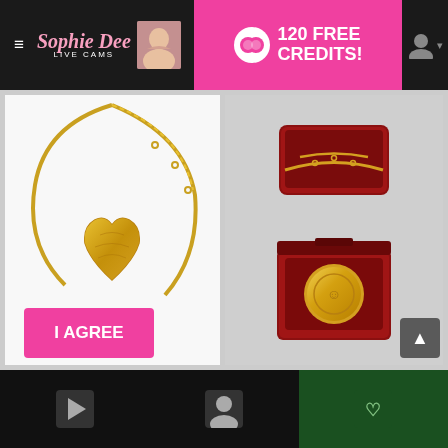[Figure (screenshot): Website header navbar with hamburger menu, Sophie Dee Live Cams logo with photo, pink '120 FREE CREDITS!' promo banner, and user icon]
[Figure (photo): Gold heart locket pendant on chain against white background]
Gold Locket
Cost: 30
VIP Cost: 25
Rewards Points: 3,000
[Figure (photo): Gold locket in a red jewelry box with gold chain]
Gold Locket in...
Cost: 30
VIP Cost: 30
Rewards Points: 3,000
18+
Sophiedeecams.com contains adult content
By using the site, you acknowledge you have read our Privacy Policy, and agree to our Terms and Conditions.
We use cookies to optimize your experience, analyze traffic, and deliver more personalized service. To learn more, please see our Privacy Policy.
I AGREE